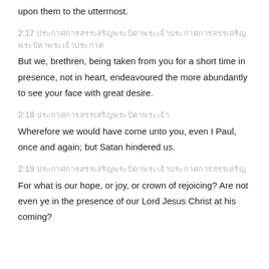upon them to the uttermost.
2:17 ประกาศการสรรเสริญพระบิดาพระเจ้า
But we, brethren, being taken from you for a short time in presence, not in heart, endeavoured the more abundantly to see your face with great desire.
2:18 ประกาศการสรรเสริญ
Wherefore we would have come unto you, even I Paul, once and again; but Satan hindered us.
2:19 ประกาศการสรรเสริญพระบิดา
For what is our hope, or joy, or crown of rejoicing? Are not even ye in the presence of our Lord Jesus Christ at his coming?